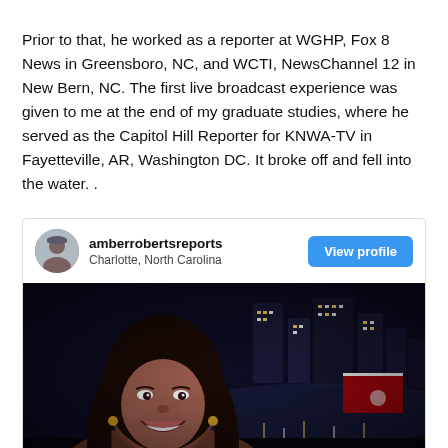Prior to that, he worked as a reporter at WGHP, Fox 8 News in Greensboro, NC, and WCTI, NewsChannel 12 in New Bern, NC. The first live broadcast experience was given to me at the end of my graduate studies, where he served as the Capitol Hill Reporter for KNWA-TV in Fayetteville, AR, Washington DC. It broke off and fell into the water. .
[Figure (screenshot): Instagram profile card for amberrobertsreports from Charlotte, North Carolina, with a View profile button. Below is a photo of a smiling woman with long brown hair, taken at night with city buildings and lights in the background.]